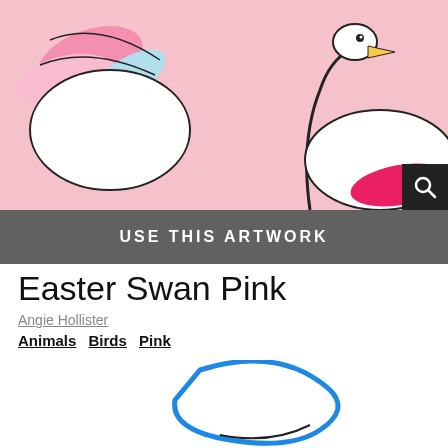[Figure (illustration): Pink background illustration showing a white swan with colorful feathers (pink and blue) and a yellow beak, along with another swan head visible. A dark search icon button in bottom-right corner.]
USE THIS ARTWORK
Easter Swan Pink
Angie Hollister
Animals  Birds  Pink
[Figure (illustration): White background with partial cartoon swan illustrations — a blue-outlined egg or wing shape at top, and a small crowned swan head at bottom right.]